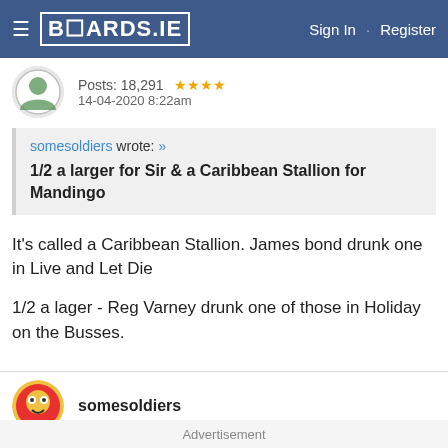BOARDS.IE  Sign In · Register
Posts: 18,291 ★★★★
14-04-2020 8:22am
somesoldiers wrote: »
1/2 a larger for Sir & a Caribbean Stallion for Mandingo
It's called a Caribbean Stallion. James bond drunk one in Live and Let Die

1/2 a lager - Reg Varney drunk one of those in Holiday on the Busses.
somesoldiers
Advertisement